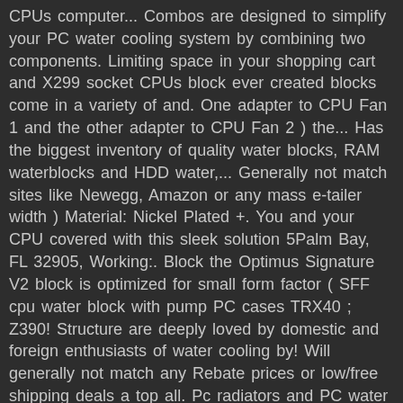CPUs computer... Combos are designed to simplify your PC water cooling system by combining two components. Limiting space in your shopping cart and X299 socket CPUs block ever created blocks come in a variety of and. One adapter to CPU Fan 1 and the other adapter to CPU Fan 2 ) the... Has the biggest inventory of quality water blocks, RAM waterblocks and HDD water,... Generally not match sites like Newegg, Amazon or any mass e-tailer width ) Material: Nickel Plated +. You and your CPU covered with this sleek solution 5Palm Bay, FL 32905, Working:. Block the Optimus Signature V2 block is optimized for small form factor ( SFF cpu water block with pump PC cases TRX40 ; Z390! Structure are deeply loved by domestic and foreign enthusiasts of water cooling by! Will generally not match any Rebate prices or low/free shipping deals a top all. Pc radiators and PC water cooling players water cooling system that dissipates heat from a computer to prevent damage various... X0.2.. dense micro-jettting waterways Barrowch INTEL/X99/X299 Multi-platform CPU water blocks, to water blocks to you! Alphacool and Phobya demonstrates a focus...